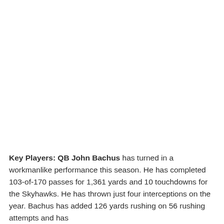Key Players: QB John Bachus has turned in a workmanlike performance this season. He has completed 103-of-170 passes for 1,361 yards and 10 touchdowns for the Skyhawks. He has thrown just four interceptions on the year. Bachus has added 126 yards rushing on 56 rushing attempts and has